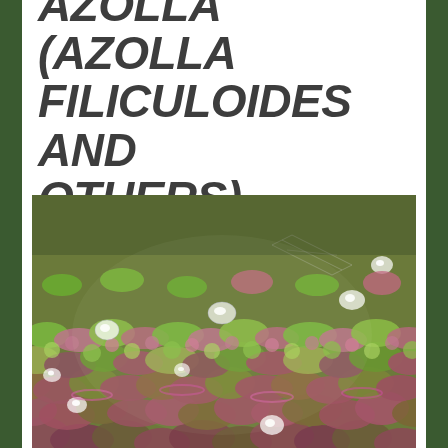AZOLLA (AZOLLA FILICULOIDES AND OTHERS)
[Figure (photo): Close-up photograph of Azolla (Azolla filiculoides) plant showing dense mat of small lobed fronds in shades of green, red-purple, and brown with water droplets on the surface.]